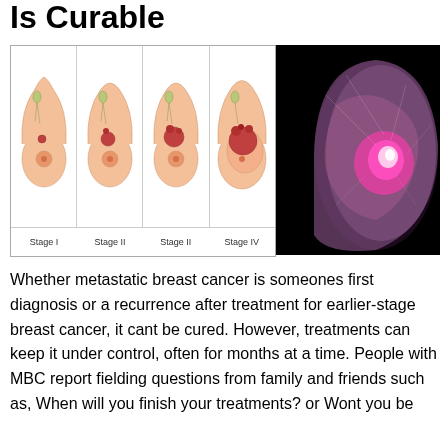Is Curable
[Figure (illustration): Left panel: Four diagrams showing breast cancer progression from Stage I through Stage IV, with anatomical cross-sections showing tumor growth at each stage, labeled Stage I, Stage II, Stage III, Stage IV. Right panel: Mammogram image showing a bright pink/red mass indicating breast cancer on black background.]
Whether metastatic breast cancer is someones first diagnosis or a recurrence after treatment for earlier-stage breast cancer, it cant be cured. However, treatments can keep it under control, often for months at a time. People with MBC report fielding questions from family and friends such as, When will you finish your treatments? or Wont you be